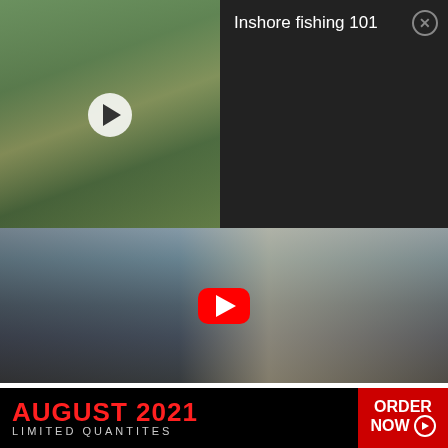[Figure (screenshot): Top ad banner showing a video thumbnail of a man holding a fish with play button, dark background, title 'Inshore fishing 101' and close button]
[Figure (screenshot): Main video thumbnail showing a man holding a fish under a bridge with YouTube play button overlay]
Speckled trout destroying the Matrix Minnow and Mullet
August 26, 2022
[Figure (infographic): Advertisement banner: AUGUST 2021 LIMITED QUANTITES with ORDER NOW button in red]